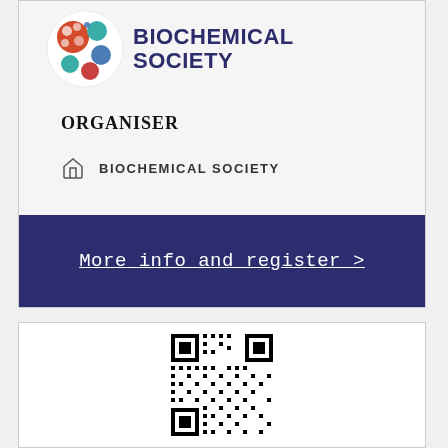[Figure (logo): Biochemical Society logo with colorful circular pattern and text BIOCHEMICAL SOCIETY]
ORGANISER
BIOCHEMICAL SOCIETY
More info and register >
[Figure (other): QR code for more information and registration]